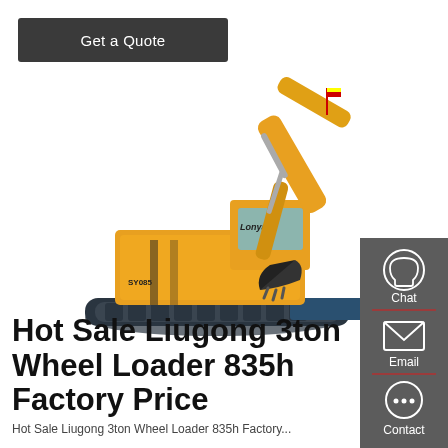Get a Quote
[Figure (photo): Yellow Lonyang/Liugong tracked excavator on white background, side-angle view showing arm extended with bucket]
[Figure (infographic): Vertical sidebar with dark grey background containing Chat (headset icon), Email (envelope icon), and Contact (speech bubble with dots icon), with red dividers between items]
Hot Sale Liugong 3ton Wheel Loader 835h Factory Price
Hot Sale Liugong 3ton Wheel Loader 835h Factory...